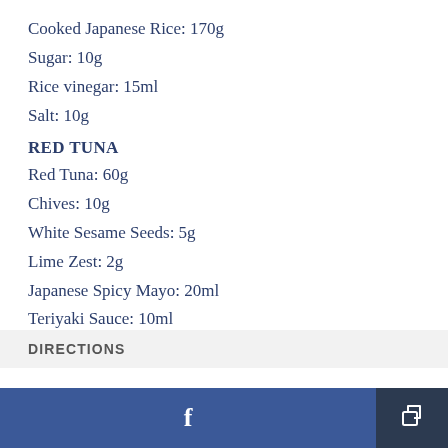Cooked Japanese Rice: 170g
Sugar: 10g
Rice vinegar: 15ml
Salt: 10g
RED TUNA
Red Tuna: 60g
Chives: 10g
White Sesame Seeds: 5g
Lime Zest: 2g
Japanese Spicy Mayo: 20ml
Teriyaki Sauce: 10ml
DIRECTIONS
Facebook share | Share